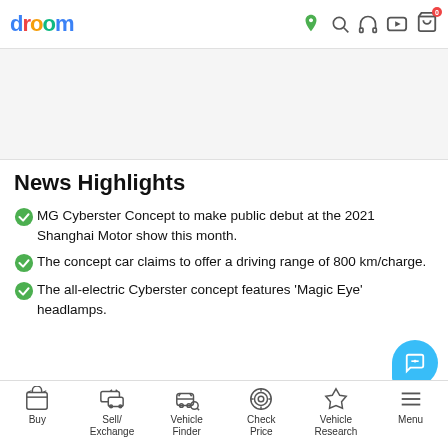droom
[Figure (other): Gray banner/advertisement area]
News Highlights
MG Cyberster Concept to make public debut at the 2021 Shanghai Motor show this month.
The concept car claims to offer a driving range of 800 km/charge.
The all-electric Cyberster concept features 'Magic Eye' headlamps.
Buy | Sell/Exchange | Vehicle Finder | Check Price | Vehicle Research | Menu